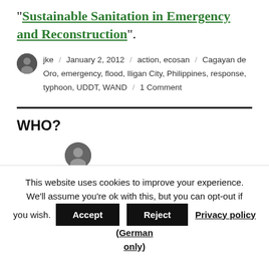“Sustainable Sanitation in Emergency and Reconstruction”.
jke / January 2, 2012 / action, ecosan / Cagayan de Oro, emergency, flood, Iligan City, Philippines, response, typhoon, UDDT, WAND / 1 Comment
WHO?
This website uses cookies to improve your experience. We'll assume you're ok with this, but you can opt-out if you wish. Accept Reject Privacy policy (German only)